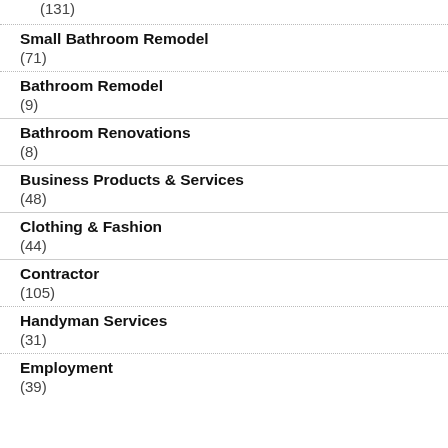(131)
Small Bathroom Remodel
(71)
Bathroom Remodel
(9)
Bathroom Renovations
(8)
Business Products & Services
(48)
Clothing & Fashion
(44)
Contractor
(105)
Handyman Services
(31)
Employment
(39)